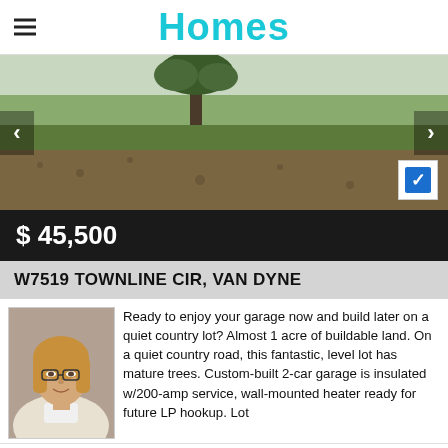Homes
[Figure (photo): Exterior photo of a grassy lot with a tree in background]
$ 45,500
W7519 TOWNLINE CIR, VAN DYNE
[Figure (photo): Headshot of agent Jenelle Bruno]
Ready to enjoy your garage now and build later on a quiet country lot? Almost 1 acre of buildable land. On a quiet country road, this fantastic, level lot has mature trees. Custom-built 2-car garage is insulated w/200-amp service, wall-mounted heater ready for future LP hookup. Lot
JENELLE BRUNO
920-238-6545
[Figure (logo): First Weber Realtors logo]
FIRST WEBER REALTORS
800-276-7260
OPEN SUNDAY 1-2/30